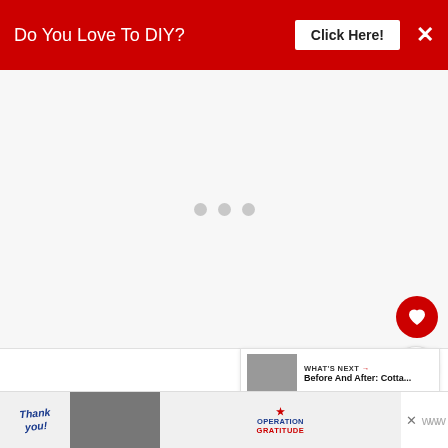Do You Love To DIY?  Click Here!  ×
[Figure (other): Loading placeholder area with three gray dots centered on a light gray background]
[Figure (other): Red circular favorite/heart button on right side]
[Figure (other): White circular share button with plus icon on right side]
[Figure (other): WHAT'S NEXT card showing thumbnail and text 'Before And After: Cotta...']
Don't tell her, but I think they'd make an
[Figure (other): Bottom advertisement banner: Thank you! Operation Gratitude with soldiers image]